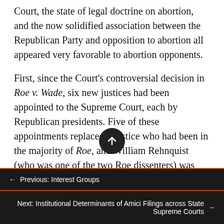Court, the state of legal doctrine on abortion, and the now solidified association between the Republican Party and opposition to abortion all appeared very favorable to abortion opponents.

First, since the Court's controversial decision in Roe v. Wade, six new justices had been appointed to the Supreme Court, each by Republican presidents. Five of these appointments replaced a justice who had been in the majority of Roe, and William Rehnquist (who was one of the two Roe dissenters) was now elevated to the position of chief justice, with opinion assignment power. That left
Previous: Interest Groups
Next: Institutional Determinants of Amici Filings across State Supreme Courts